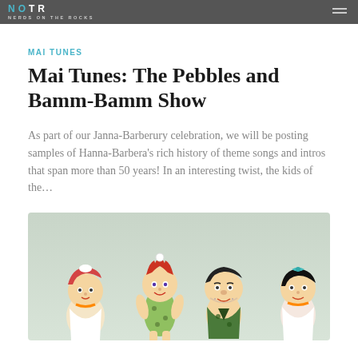NERDS ON THE ROCKS
MAI TUNES
Mai Tunes: The Pebbles and Bamm-Bamm Show
As part of our Janna-Barberury celebration, we will be posting samples of Hanna-Barbera’s rich history of theme songs and intros that span more than 50 years! In an interesting twist, the kids of the…
[Figure (illustration): Cartoon illustration of Flintstones characters including Wilma, Pebbles, Fred, and Betty from the Pebbles and Bamm-Bamm Show, set against a light green/grey background.]